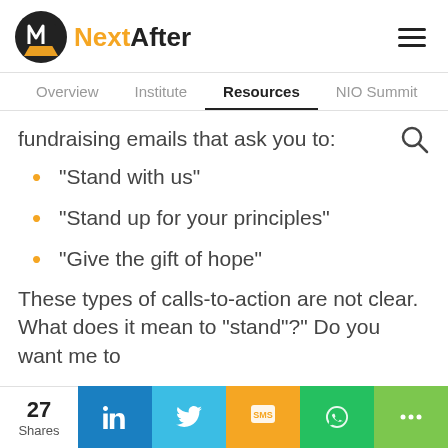NextAfter
Overview  Institute  Resources  NIO Summit
fundraising emails that ask you to:
“Stand with us”
“Stand up for your principles”
“Give the gift of hope”
These types of calls-to-action are not clear. What does it mean to “stand”?” Do you want me to
27 Shares